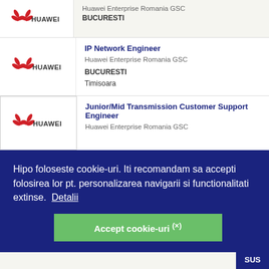Huawei Enterprise Romania GSC
BUCURESTI
IP Network Engineer
Huawei Enterprise Romania GSC
BUCURESTI
Timisoara
Junior/Mid Transmission Customer Support Engineer
Huawei Enterprise Romania GSC
Hipo foloseste cookie-uri. Iti recomandam sa accepti folosirea lor pt. personalizarea navigarii si functionalitati extinse. Detalii
Accept cookie-uri (×)
SUS